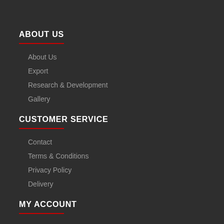ABOUT US
About Us
Export
Research & Development
Gallery
CUSTOMER SERVICE
Contact
Terms & Conditions
Privacy Policy
Delivery
MY ACCOUNT
My Account